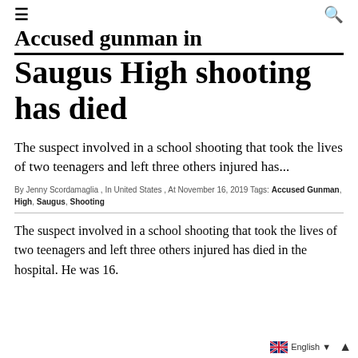☰  🔍
Accused gunman in Saugus High shooting has died
The suspect involved in a school shooting that took the lives of two teenagers and left three others injured has...
By Jenny Scordamaglia , In United States , At November 16, 2019 Tags: Accused Gunman, High, Saugus, Shooting
The suspect involved in a school shooting that took the lives of two teenagers and left three others injured has died in the hospital. He was 16.
English ▼ ▲